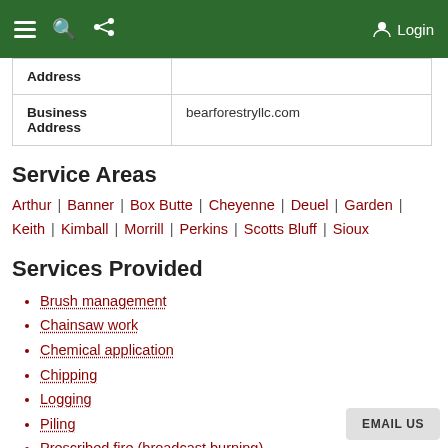Login
| Address |  |
| Business Address | bearforestryllc.com |
Service Areas
Arthur | Banner | Box Butte | Cheyenne | Deuel | Garden | Keith | Kimball | Morrill | Perkins | Scotts Bluff | Sioux
Services Provided
Brush management
Chainsaw work
Chemical application
Chipping
Logging
Piling
Prescribed fire (broadcast burning)